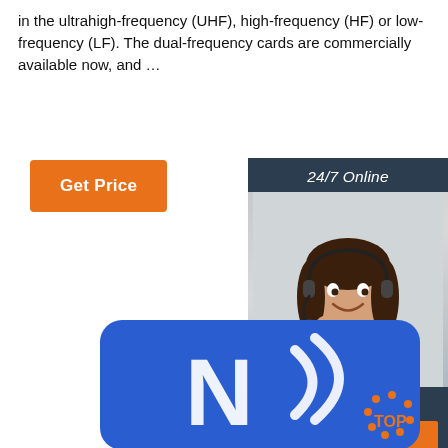in the ultrahigh-frequency (UHF), high-frequency (HF) or low-frequency (LF). The dual-frequency cards are commercially available now, and …
[Figure (other): Orange 'Get Price' button]
[Figure (other): 24/7 Online chat widget with customer service agent photo, 'Click here for free chat!' text, and orange QUOTATION button]
[Figure (photo): Blue NFC card with white NFC logo (N with wireless signal arcs). Corner shows orange 'TOP' logo with dots.]